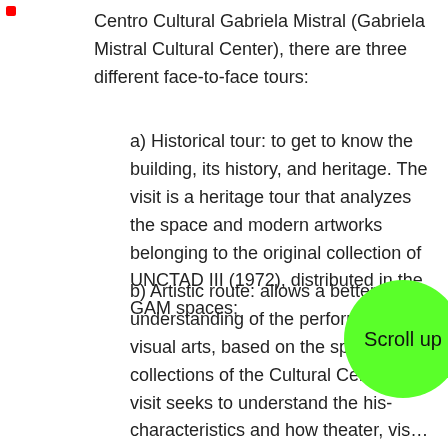Centro Cultural Gabriela Mistral (Gabriela Mistral Cultural Center), there are three different face-to-face tours:
a) Historical tour: to get to know the building, its history, and heritage. The visit is a heritage tour that analyzes the space and modern artworks belonging to the original collection of UNCTAD III (1972), distributed in the GAM spaces;
b) Artistic route: allows a better understanding of the performing and visual arts, based on the spaces and collections of the Cultural Center; the visit seeks to understand the historical characteristics and how theater, visual arts and the role of the spectator has